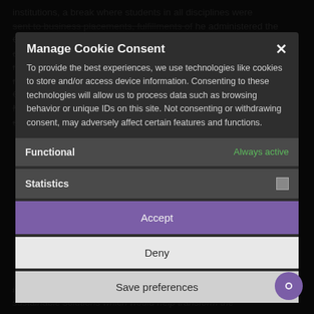institutions, a break where students in all disciplines were sent to business placements, fulfillments of he administered the Centre State Employment Best Path and urged other States to adopt same to achieve similar manner to achieve similar that development. A representative of Ms Okonkwo Okwuha, Honourable Commissioner for Commerce, Industry and Cooperatives, Mr Aayinde Clarewam, encouraged young entrepreneurs to develop their skills through vocational training. He urged stakeholders to come up with practical to sustainable solutions which would help transform the
Manage Cookie Consent
To provide the best experiences, we use technologies like cookies to store and/or access device information. Consenting to these technologies will allow us to process data such as browsing behavior or unique IDs on this site. Not consenting or withdrawing consent, may adversely affect certain features and functions.
Functional
Always active
Statistics
Accept
Deny
Save preferences